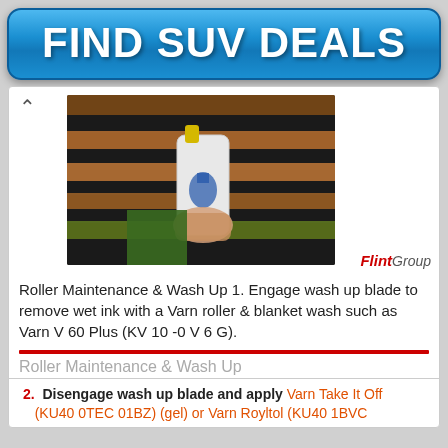[Figure (other): Blue glossy banner advertisement button reading FIND SUV DEALS in bold white text]
[Figure (photo): A hand holding a white squeeze bottle with a yellow cap and a flask logo, applying liquid to printing press rollers (copper and black) in an industrial setting. FlintGroup logo visible bottom right.]
Roller Maintenance & Wash Up 1. Engage wash up blade to remove wet ink with a Varn roller & blanket wash such as Varn V 60 Plus (KV 10 -0 V 6 G).
Roller Maintenance & Wash Up
2. Disengage wash up blade and apply Varn Take It Off (KU40 0TEC 01BZ) (gel) or Varn Royltol (KU40 1BVC...